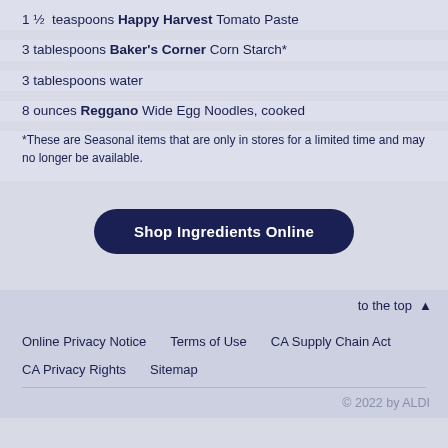1 ½ teaspoons Happy Harvest Tomato Paste
3 tablespoons Baker's Corner Corn Starch*
3 tablespoons water
8 ounces Reggano Wide Egg Noodles, cooked
*These are Seasonal items that are only in stores for a limited time and may no longer be available.
Shop Ingredients Online
to the top ▲
Online Privacy Notice   Terms of Use   CA Supply Chain Act   CA Privacy Rights   Sitemap
© 2022 by ALDI